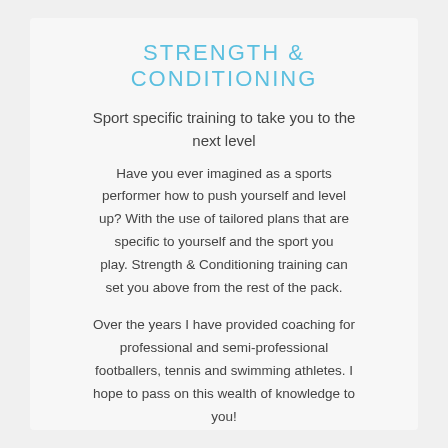STRENGTH & CONDITIONING
Sport specific training to take you to the next level
Have you ever imagined as a sports performer how to push yourself and level up? With the use of tailored plans that are specific to yourself and the sport you play. Strength & Conditioning training can set you above from the rest of the pack.
Over the years I have provided coaching for professional and semi-professional footballers, tennis and swimming athletes. I hope to pass on this wealth of knowledge to you!